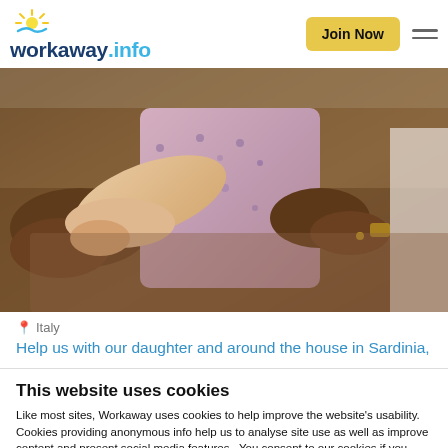workaway.info — Join Now
[Figure (photo): Close-up photo of adults with a child, showing hands and arms. Someone is holding a child in a patterned dress. Outdoor setting.]
Italy
Help us with our daughter and around the house in Sardinia,
This website uses cookies
Like most sites, Workaway uses cookies to help improve the website's usability. Cookies providing anonymous info help us to analyse site use as well as improve content and present social media features.  You consent to our cookies if you continue to use our website.
OK
Settings